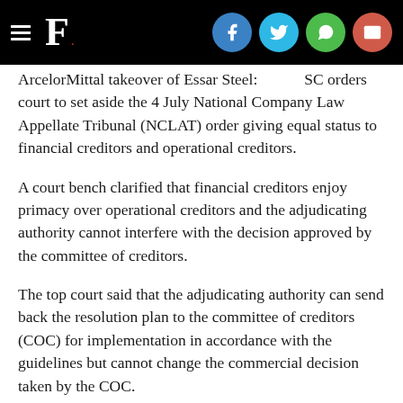F. [social share icons: Facebook, Twitter, WhatsApp, Email]
ArcelorMittal takeover of Essar Steel: SC orders court to set aside the 4 July National Company Law Appellate Tribunal (NCLAT) order giving equal status to financial creditors and operational creditors.
A court bench clarified that financial creditors enjoy primacy over operational creditors and the adjudicating authority cannot interfere with the decision approved by the committee of creditors.
The top court said that the adjudicating authority can send back the resolution plan to the committee of creditors (COC) for implementation in accordance with the guidelines but cannot change the commercial decision taken by the COC.
The bench said that the COC resolution plan must balance the interest of all stakeholders.